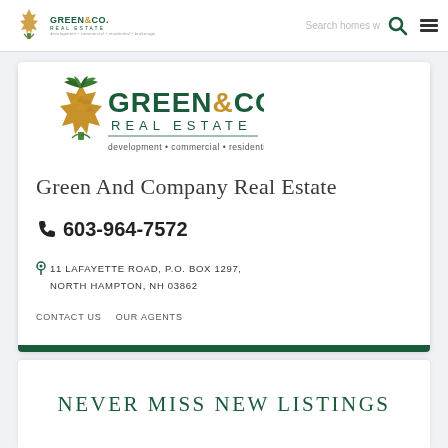Green&Co. Real Estate — Search homes — nav menu
[Figure (logo): Green & Co. Real Estate logo with pineapple icon, development • commercial • residential • brokerage]
Green And Company Real Estate
603-964-7572
11 LAFAYETTE ROAD, P.O. BOX 1297, NORTH HAMPTON, NH 03862
CONTACT US   OUR AGENTS
NEVER MISS NEW LISTINGS